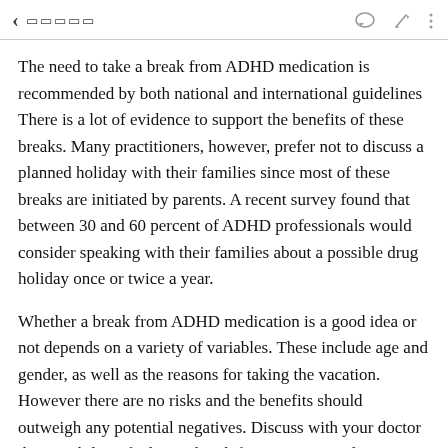◂ □□□□□
The need to take a break from ADHD medication is recommended by both national and international guidelines There is a lot of evidence to support the benefits of these breaks. Many practitioners, however, prefer not to discuss a planned holiday with their families since most of these breaks are initiated by parents. A recent survey found that between 30 and 60 percent of ADHD professionals would consider speaking with their families about a possible drug holiday once or twice a year.
Whether a break from ADHD medication is a good idea or not depends on a variety of variables. These include age and gender, as well as the reasons for taking the vacation. However there are no risks and the benefits should outweigh any potential negatives. Discuss with your doctor the possibility of taking a break from ADHD medication, and inquire about any restrictions.